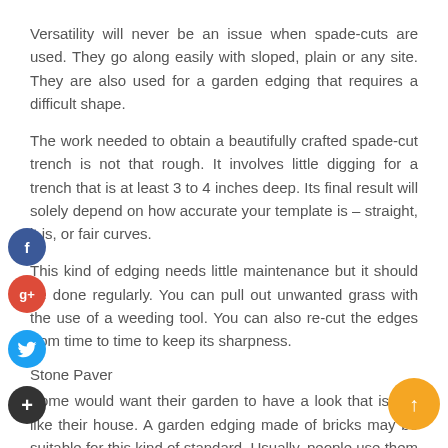Versatility will never be an issue when spade-cuts are used. They go along easily with sloped, plain or any site. They are also used for a garden edging that requires a difficult shape.
The work needed to obtain a beautifully crafted spade-cut trench is not that rough. It involves little digging for a trench that is at least 3 to 4 inches deep. Its final result will solely depend on how accurate your template is – straight, it is, or fair curves.
This kind of edging needs little maintenance but it should be done regularly. You can pull out unwanted grass with the use of a weeding tool. You can also re-cut the edges from time to time to keep its sharpness.
Stone Paver
Some would want their garden to have a look that is just like their house. A garden edging made of bricks may be suitable for this kind of standard. Usually, people use them as decorations without knowing how beneficial this edging variation could be.
[Figure (other): Social media buttons: Facebook (blue circle with f), Google+ (red circle with g+), Twitter (blue circle with bird icon), Add/plus (dark circle with +), and an orange up-arrow circle button on the right side.]